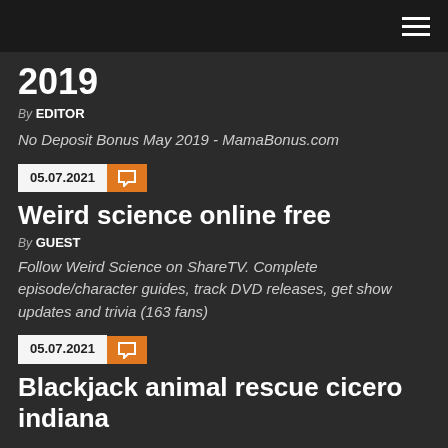2019
By EDITOR
No Deposit Bonus May 2019 - MamaBonus.com
05.07.2021
Weird science online free
By GUEST
Follow Weird Science on ShareTV. Complete episode/character guides, track DVD releases, get show updates and trivia (163 fans)
05.07.2021
Blackjack animal rescue cicero indiana